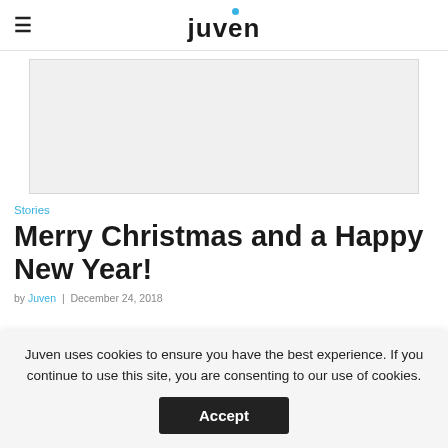juven
[Figure (photo): Large gray placeholder image area (hero image)]
Stories
Merry Christmas and a Happy New Year!
by Juven | December 24, 2018
Juven uses cookies to ensure you have the best experience. If you continue to use this site, you are consenting to our use of cookies.